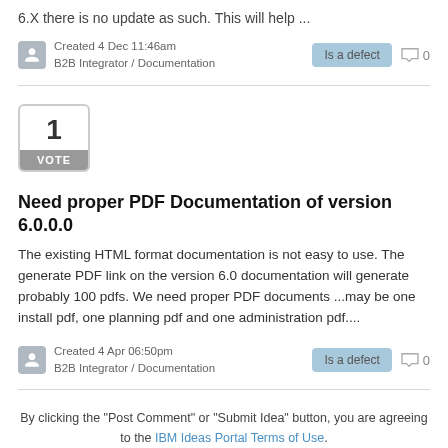6.X there is no update as such. This will help ...
Created 4 Dec 11:46am
B2B Integrator / Documentation
Is a defect  0
1
VOTE
Need proper PDF Documentation of version 6.0.0.0
The existing HTML format documentation is not easy to use. The generate PDF link on the version 6.0 documentation will generate probably 100 pdfs. We need proper PDF documents ...may be one install pdf, one planning pdf and one administration pdf....
Created 4 Apr 06:50pm
B2B Integrator / Documentation
Is a defect  0
By clicking the "Post Comment" or "Submit Idea" button, you are agreeing to the IBM Ideas Portal Terms of Use.
Do not place IBM confidential, company confidential, or personal information into any field.